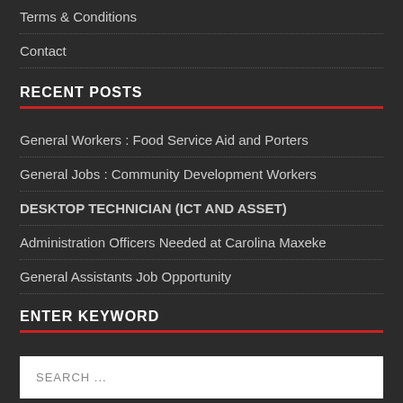Terms & Conditions
Contact
RECENT POSTS
General Workers : Food Service Aid and Porters
General Jobs : Community Development Workers
DESKTOP TECHNICIAN (ICT AND ASSET)
Administration Officers Needed at Carolina Maxeke
General Assistants Job Opportunity
ENTER KEYWORD
SEARCH ...
CATEGORIES